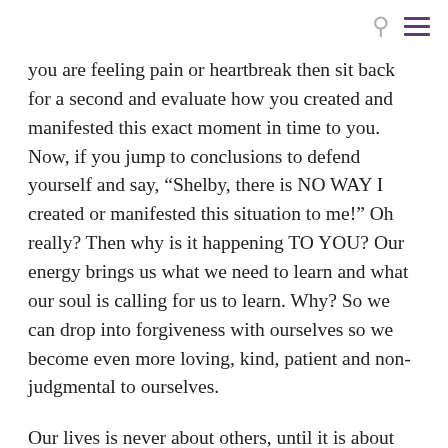[search icon] [menu icon]
you are feeling pain or heartbreak then sit back for a second and evaluate how you created and manifested this exact moment in time to you. Now, if you jump to conclusions to defend yourself and say, “Shelby, there is NO WAY I created or manifested this situation to me!” Oh really? Then why is it happening TO YOU? Our energy brings us what we need to learn and what our soul is calling for us to learn. Why? So we can drop into forgiveness with ourselves so we become even more loving, kind, patient and non-judgmental to ourselves.
Our lives is never about others, until it is about